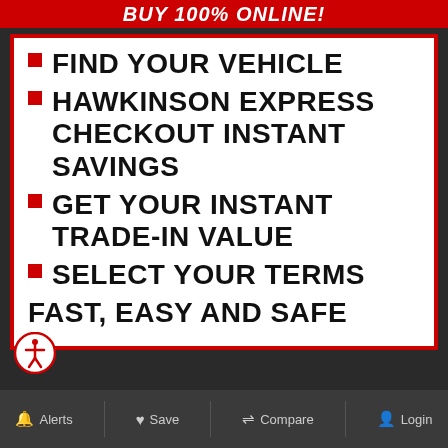BUY 100% ONLINE!
FIND YOUR VEHICLE
HAWKINSON EXPRESS CHECKOUT INSTANT SAVINGS
GET YOUR INSTANT TRADE-IN VALUE
SELECT YOUR TERMS
FAST, EASY AND SAFE
Alerts  Save  Compare  Login